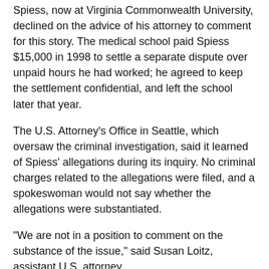Spiess, now at Virginia Commonwealth University, declined on the advice of his attorney to comment for this story. The medical school paid Spiess $15,000 in 1998 to settle a separate dispute over unpaid hours he had worked; he agreed to keep the settlement confidential, and left the school later that year.
The U.S. Attorney's Office in Seattle, which oversaw the criminal investigation, said it learned of Spiess' allegations during its inquiry. No criminal charges related to the allegations were filed, and a spokeswoman would not say whether the allegations were substantiated.
"We are not in a position to comment on the substance of the issue," said Susan Loitz, assistant U.S. attorney.
Spiess' letter to Ramsey addressed the billing issues and his concerns over staffing shortages in the department of cardiothoracic anesthesiology.
Doctors repeatedly asked Spiess to falsify bills, he wrote.